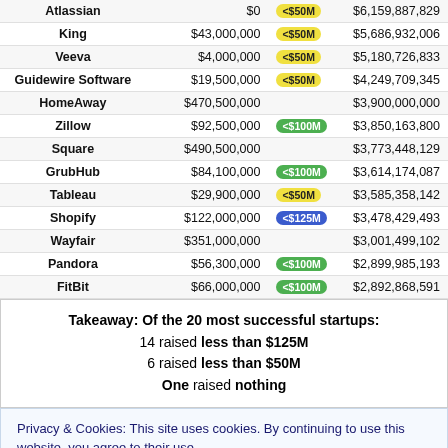| Company | Raised |  | Valuation |
| --- | --- | --- | --- |
| Atlassian | $0 | <$50M | $6,159,887,829 |
| King | $43,000,000 | <$50M | $5,686,932,006 |
| Veeva | $4,000,000 | <$50M | $5,180,726,833 |
| Guidewire Software | $19,500,000 | <$50M | $4,249,709,345 |
| HomeAway | $470,500,000 |  | $3,900,000,000 |
| Zillow | $92,500,000 | <$100M | $3,850,163,800 |
| Square | $490,500,000 |  | $3,773,448,129 |
| GrubHub | $84,100,000 | <$100M | $3,614,174,087 |
| Tableau | $29,900,000 | <$50M | $3,585,358,142 |
| Shopify | $122,000,000 | <$125M | $3,478,429,493 |
| Wayfair | $351,000,000 |  | $3,001,499,102 |
| Pandora | $56,300,000 | <$100M | $2,899,985,193 |
| FitBit | $66,000,000 | <$100M | $2,892,868,591 |
Takeaway: Of the 20 most successful startups: 14 raised less than $125M 6 raised less than $50M One raised nothing
Privacy & Cookies: This site uses cookies. By continuing to use this website, you agree to their use. To find out more, including how to control cookies, see here: Cookie Policy
this “go big or go home” approach stand up to scrutiny? In